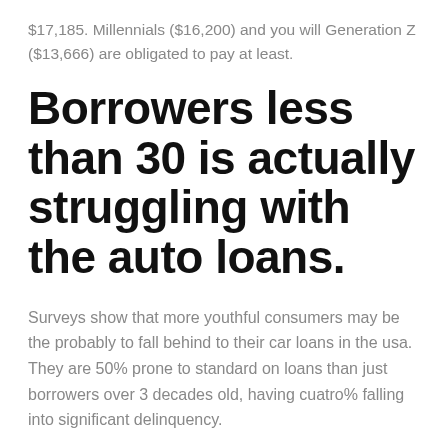$17,185. Millennials ($16,200) and you will Generation Z ($13,666) are obligated to pay at least.
Borrowers less than 30 is actually struggling with the auto loans.
Surveys show that more youthful consumers may be the probably to fall behind to their car loans in the usa. They are 50% prone to standard on loans than just borrowers over 3 decades old, having cuatro% falling into significant delinquency.
Financial institutions